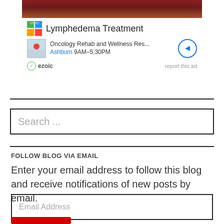[Figure (screenshot): Advertisement for Lymphedema Treatment from Oncology Rehab and Wellness Resource in Ashburn, 9AM-5:30PM, with ezoic branding and report this ad link]
Search ...
FOLLOW BLOG VIA EMAIL
Enter your email address to follow this blog and receive notifications of new posts by email.
Email Address